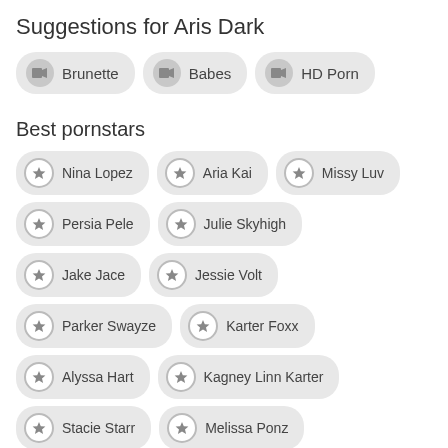Suggestions for Aris Dark
Brunette
Babes
HD Porn
Best pornstars
Nina Lopez
Aria Kai
Missy Luv
Persia Pele
Julie Skyhigh
Jake Jace
Jessie Volt
Parker Swayze
Karter Foxx
Alyssa Hart
Kagney Linn Karter
Stacie Starr
Melissa Ponz